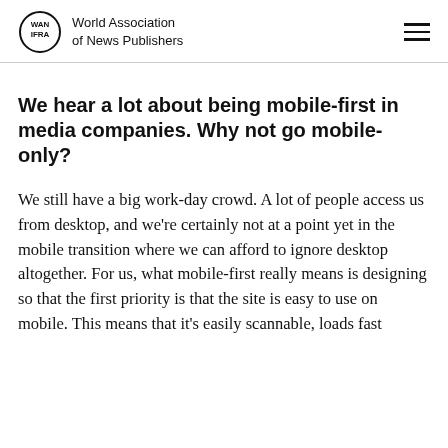World Association of News Publishers
We hear a lot about being mobile-first in media companies. Why not go mobile-only?
We still have a big work-day crowd. A lot of people access us from desktop, and we're certainly not at a point yet in the mobile transition where we can afford to ignore desktop altogether. For us, what mobile-first really means is designing so that the first priority is that the site is easy to use on mobile. This means that it's easily scannable, loads fast